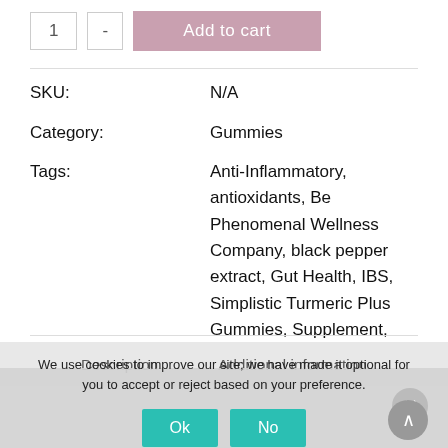[Figure (screenshot): Add to cart button with quantity selector showing '1' and '-' buttons, styled in muted pink/mauve color]
SKU:    N/A
Category:    Gummies
Tags:    Anti-Inflammatory, antioxidants, Be Phenomenal Wellness Company, black pepper extract, Gut Health, IBS, Simplistic Turmeric Plus Gummies, Supplement, turmeric
Description    Additional information
We use cookies to improve our site; we have made it optional for you to accept or reject based on your preference.